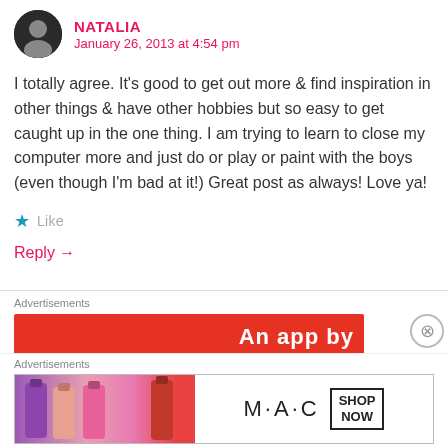NATALIA
January 26, 2013 at 4:54 pm
I totally agree. It's good to get out more & find inspiration in other things & have other hobbies but so easy to get caught up in the one thing. I am trying to learn to close my computer more and just do or play or paint with the boys (even though I'm bad at it!) Great post as always! Love ya!
Like
Reply →
Advertisements
[Figure (other): Red advertisement banner with white text partially visible reading 'An app by']
Advertisements
[Figure (other): MAC Cosmetics advertisement showing colorful lipsticks with MAC logo and SHOP NOW button]